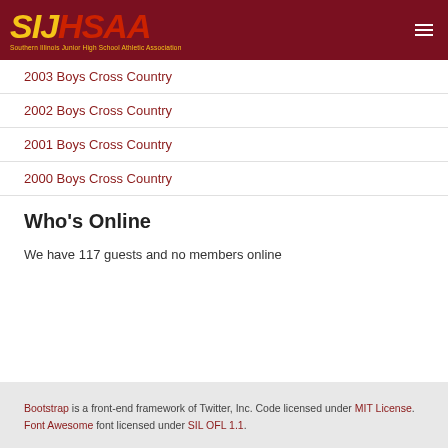SIJHSAA - Southern Illinois Junior High School Athletic Association
2003 Boys Cross Country
2002 Boys Cross Country
2001 Boys Cross Country
2000 Boys Cross Country
Who's Online
We have 117 guests and no members online
Bootstrap is a front-end framework of Twitter, Inc. Code licensed under MIT License. Font Awesome font licensed under SIL OFL 1.1.